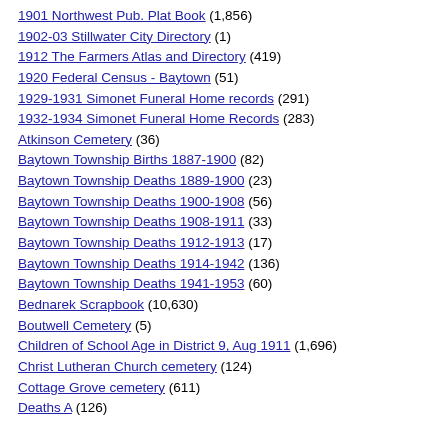1901 Northwest Pub. Plat Book (1,856)
1902-03 Stillwater City Directory (1)
1912 The Farmers Atlas and Directory (419)
1920 Federal Census - Baytown (51)
1929-1931 Simonet Funeral Home records (291)
1932-1934 Simonet Funeral Home Records (283)
Atkinson Cemetery (36)
Baytown Township Births 1887-1900 (82)
Baytown Township Deaths 1889-1900 (23)
Baytown Township Deaths 1900-1908 (56)
Baytown Township Deaths 1908-1911 (33)
Baytown Township Deaths 1912-1913 (17)
Baytown Township Deaths 1914-1942 (136)
Baytown Township Deaths 1941-1953 (60)
Bednarek Scrapbook (10,630)
Boutwell Cemetery (5)
Children of School Age in District 9, Aug 1911 (1,696)
Christ Lutheran Church cemetery (124)
Cottage Grove cemetery (611)
Deaths A (126)